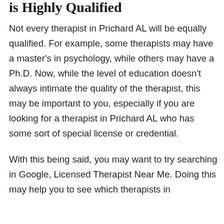is Highly Qualified
Not every therapist in Prichard AL will be equally qualified. For example, some therapists may have a master's in psychology, while others may have a Ph.D. Now, while the level of education doesn't always intimate the quality of the therapist, this may be important to you, especially if you are looking for a therapist in Prichard AL who has some sort of special license or credential.
With this being said, you may want to try searching in Google, Licensed Therapist Near Me. Doing this may help you to see which therapists in